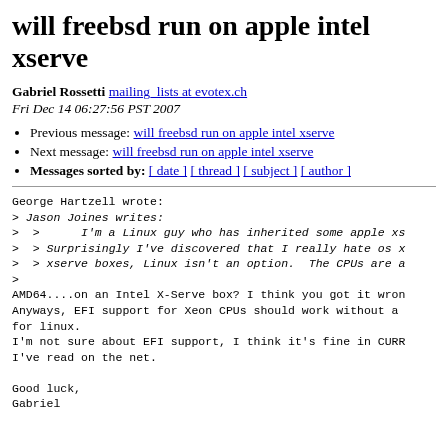will freebsd run on apple intel xserve
Gabriel Rossetti mailing_lists at evotex.ch
Fri Dec 14 06:27:56 PST 2007
Previous message: will freebsd run on apple intel xserve
Next message: will freebsd run on apple intel xserve
Messages sorted by: [ date ] [ thread ] [ subject ] [ author ]
George Hartzell wrote:
> Jason Joines writes:
>  >      I'm a Linux guy who has inherited some apple xs
>  > Surprisingly I've discovered that I really hate os x
>  > xserve boxes, Linux isn't an option.  The CPUs are a
>
AMD64....on an Intel X-Serve box? I think you got it wron
Anyways, EFI support for Xeon CPUs should work without a
for linux.
I'm not sure about EFI support, I think it's fine in CURR
I've read on the net.

Good luck,
Gabriel